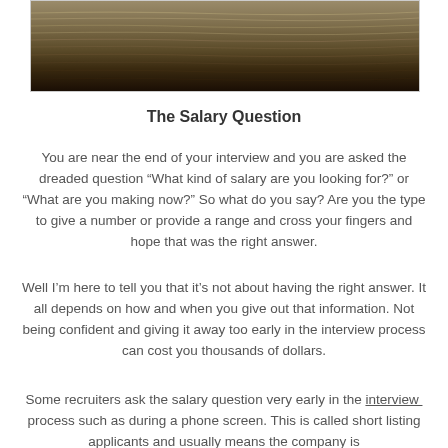[Figure (photo): Close-up photo of stacked paper money or layered organic material with brown/tan tones, shown in a bordered rectangular frame]
The Salary Question
You are near the end of your interview and you are asked the dreaded question “What kind of salary are you looking for?” or “What are you making now?” So what do you say? Are you the type to give a number or provide a range and cross your fingers and hope that was the right answer.
Well I’m here to tell you that it’s not about having the right answer. It all depends on how and when you give out that information. Not being confident and giving it away too early in the interview process can cost you thousands of dollars.
Some recruiters ask the salary question very early in the interview process such as during a phone screen. This is called short listing applicants and usually means the company is